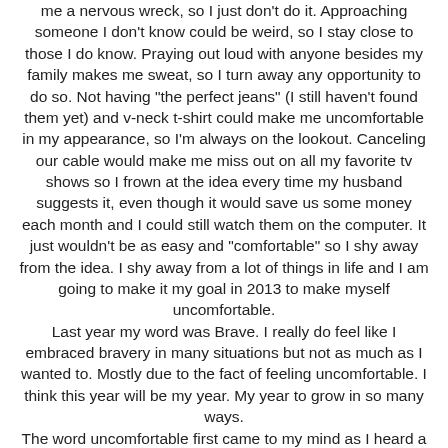me a nervous wreck, so I just don't do it. Approaching someone I don't know could be weird, so I stay close to those I do know. Praying out loud with anyone besides my family makes me sweat, so I turn away any opportunity to do so. Not having "the perfect jeans" (I still haven't found them yet) and v-neck t-shirt could make me uncomfortable in my appearance, so I'm always on the lookout. Canceling our cable would make me miss out on all my favorite tv shows so I frown at the idea every time my husband suggests it, even though it would save us some money each month and I could still watch them on the computer. It just wouldn't be as easy and "comfortable" so I shy away from the idea. I shy away from a lot of things in life and I am going to make it my goal in 2013 to make myself uncomfortable.
Last year my word was Brave. I really do feel like I embraced bravery in many situations but not as much as I wanted to. Mostly due to the fact of feeling uncomfortable. I think this year will be my year. My year to grow in so many ways.
The word uncomfortable first came to my mind as I heard a story in my bible study. A friend told us about what her family was doing for the next year. They are taking "uncomfortable" to a whole new level and selling most of their belongings and